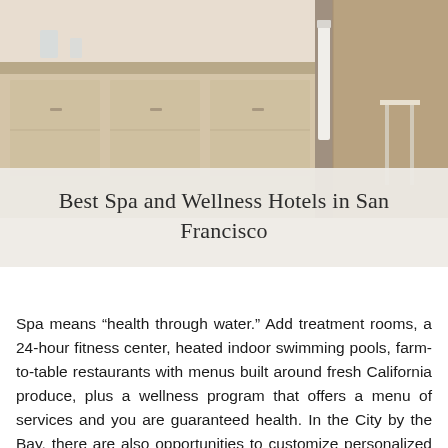[Figure (photo): Interior of a hotel room or spa area showing light wood cabinetry, a white towel hanging on a rack, and a stool in the background. Warm neutral tones.]
Best Spa and Wellness Hotels in San Francisco
Spa means “health through water.” Add treatment rooms, a 24-hour fitness center, heated indoor swimming pools, farm-to-table restaurants with menus built around fresh California produce, plus a wellness program that offers a menu of services and you are guaranteed health. In the City by the Bay, there are also opportunities to customize personalized wellness experiences, facials, manicures/pedicures, booking an in-room masseuses and lots more. Here are the top hotels for wellness in San Francisco.